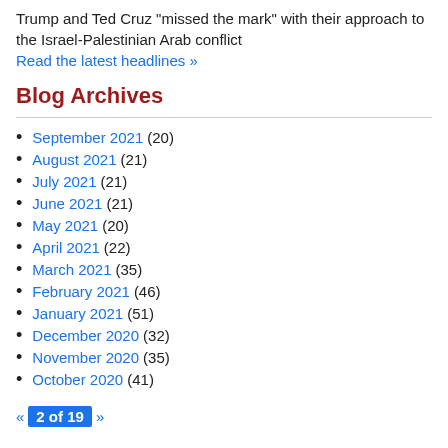Trump and Ted Cruz "missed the mark" with their approach to the Israel-Palestinian Arab conflict
Read the latest headlines »
Blog Archives
September 2021 (20)
August 2021 (21)
July 2021 (21)
June 2021 (21)
May 2021 (20)
April 2021 (22)
March 2021 (35)
February 2021 (46)
January 2021 (51)
December 2020 (32)
November 2020 (35)
October 2020 (41)
« 2 of 19 »